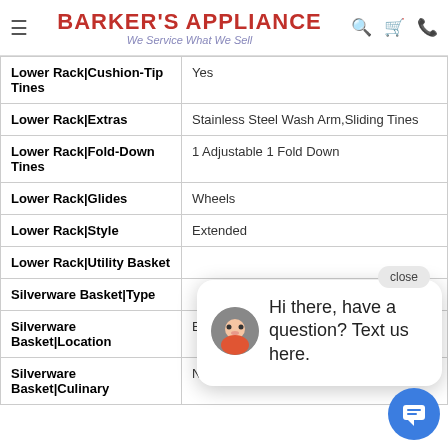BARKER'S APPLIANCE — We Service What We Sell
| Feature | Value |
| --- | --- |
| Lower Rack|Cushion-Tip Tines | Yes |
| Lower Rack|Extras | Stainless Steel Wash Arm,Sliding Tines |
| Lower Rack|Fold-Down Tines | 1 Adjustable 1 Fold Down |
| Lower Rack|Glides | Wheels |
| Lower Rack|Style | Extended |
| Lower Rack|Utility Basket |  |
| Silverware Basket|Type |  |
| Silverware Basket|Location | Bottom Rack |
| Silverware Basket|Culinary | No |